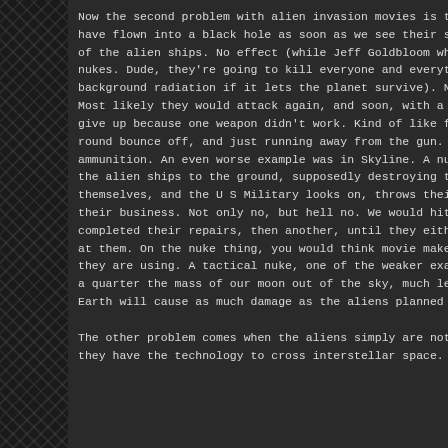Now the second problem with alien invasion movies is the way we f have flown into a black hole as soon as we see their ships.  In Indep of the alien ships.  No effect (while Jeff Goldbloom whines and scre nukes.  Dude, they're going to kill everyone and everything.  I think background radiation if it lets the planet survive).  Now how would Most likely they would attack again, and soon, with a BIGGER NUK give up because one weapon didn't work.  Kind of like firing an anti round bounce off, and just running away from the gun.  No, you keep ammunition.  An even worse example was in Skyline.  A nuke goes o the alien ships to the ground, supposedly destroying them.  But wa themselves, and the U S Military looks on, throws their hands in the their business.  Not only no, but hell no.  We would hit them with an completed their repairs, then another, until they either stayed dow at them.  On the nuke thing, you would think movie makers would at they are using.  A tactical nuke, one of the weaker examples of the a quarter the mass of our moon out of the sky, much less blow it to Earth will cause as much damage as the aliens planned for us.
The other problem comes when the aliens simply are not as advanc they have the technology to cross interstellar space.  In Battle of